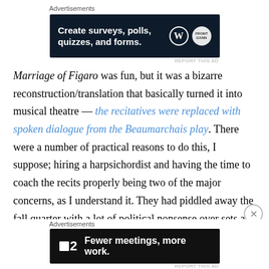[Figure (screenshot): Top advertisement banner: dark navy background with text 'Create surveys, polls, quizzes, and forms.' with WordPress and another logo on the right]
Marriage of Figaro was fun, but it was a bizarre reconstruction/translation that basically turned it into musical theatre — the recitatives were replaced with spoken dialogue from the Beaumarchais play. There were a number of practical reasons to do this, I suppose; hiring a harpsichordist and having the time to coach the recits properly being two of the major concerns, as I understand it. They had piddled away the fall quarter with a lot of political nonsense over sets and casting professionals for Figaro and the Count in one of the casts, and didn't even
[Figure (screenshot): Bottom advertisement banner: black background with F2 logo and text 'Fewer meetings, more work.']